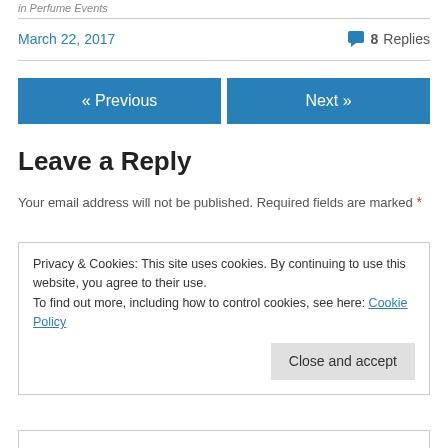in Perfume Events
March 22, 2017    💬 8 Replies
« Previous   Next »
Leave a Reply
Your email address will not be published. Required fields are marked *
Privacy & Cookies: This site uses cookies. By continuing to use this website, you agree to their use. To find out more, including how to control cookies, see here: Cookie Policy
Close and accept